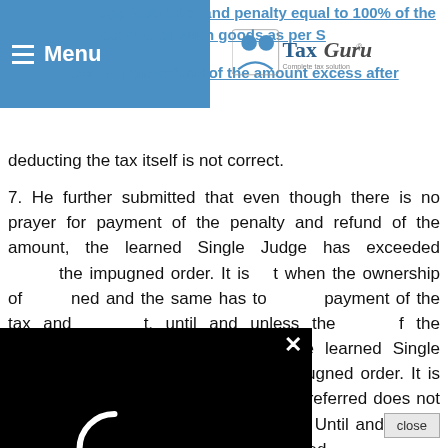Menu | TaxGuru - Complete Tax Solution
applicable tax and penalty equal to 100% of the tax due on such goods as per Section of the act. But the refund of the amount excess after deducting the tax itself is not correct.
7. He further submitted that even though there is no prayer for payment of the penalty and refund of the amount, the learned Single Judge has exceeded the impugned order. It is that when the ownership of ned and the same has to payment of the tax and t, until and unless the f the transaction is heard and decided the learned Single Judge ought not have passed the impugned order. It is his further submission that the circular referred does not determine the ownership of the goods. Until and unless the valuation and ownership is determined
[Figure (screenshot): Black video player overlay with loading spinner (partial white arc) and X close button in top-right corner]
close